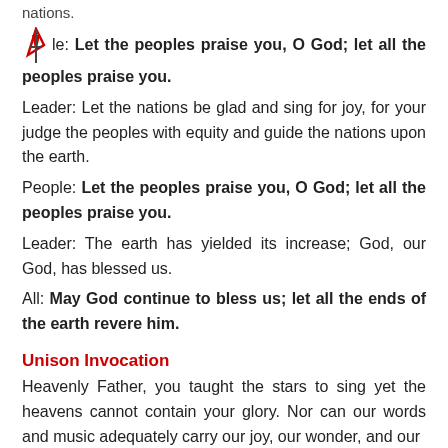nations.
People: Let the peoples praise you, O God; let all the peoples praise you.
Leader: Let the nations be glad and sing for joy, for your judge the peoples with equity and guide the nations upon the earth.
People: Let the peoples praise you, O God; let all the peoples praise you.
Leader: The earth has yielded its increase; God, our God, has blessed us.
All: May God continue to bless us; let all the ends of the earth revere him.
Unison Invocation
Heavenly Father, you taught the stars to sing yet the heavens cannot contain your glory. Nor can our words and music adequately carry our joy, our wonder, and our